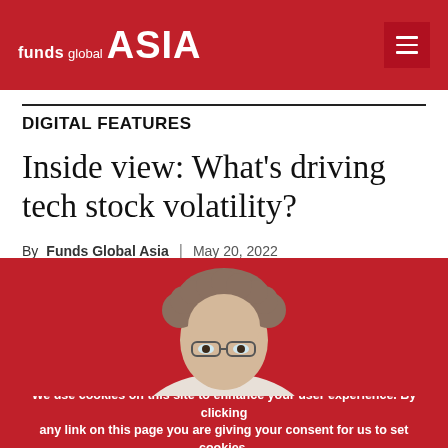funds global ASIA
DIGITAL FEATURES
Inside view: What's driving tech stock volatility?
By Funds Global Asia | May 20, 2022
[Figure (photo): Photograph of a middle-aged man with curly grey-brown hair and glasses, partially visible, on a red background]
We use cookies on this site to enhance your user experience. By clicking any link on this page you are giving your consent for us to set cookies.